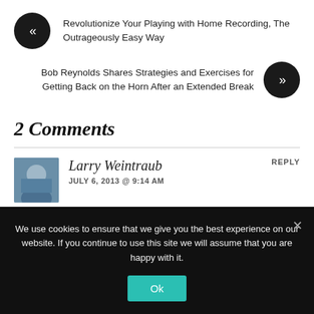« Revolutionize Your Playing with Home Recording, The Outrageously Easy Way
Bob Reynolds Shares Strategies and Exercises for Getting Back on the Horn After an Extended Break »
2 Comments
Larry Weintraub
JULY 6, 2013 @ 9:14 AM
REPLY
We use cookies to ensure that we give you the best experience on our website. If you continue to use this site we will assume that you are happy with it.
Ok